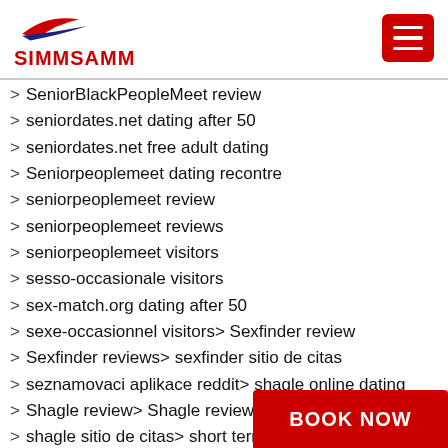SIMMSAMM
SeniorBlackPeopleMeet review
seniordates.net dating after 50
seniordates.net free adult dating
Seniorpeoplemeet dating recontre
seniorpeoplemeet review
seniorpeoplemeet reviews
seniorpeoplemeet visitors
sesso-occasionale visitors
sex-match.org dating after 50
sexe-occasionnel visitors > Sexfinder review
Sexfinder reviews > sexfinder sitio de citas
seznamovaci aplikace reddit > shagle online dating
Shagle review > Shagle reviews
shagle sitio de citas > short term payday loans
Shy Passions official webs
silverdaddies 420 dating